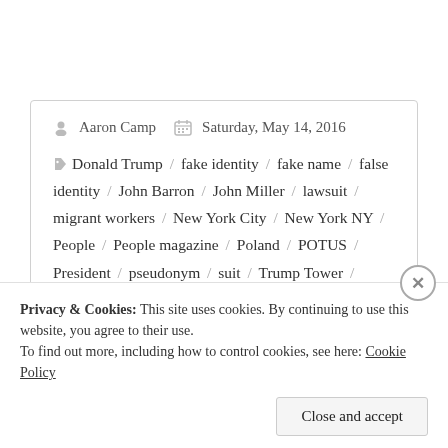Aaron Camp   Saturday, May 14, 2016
Donald Trump / fake identity / fake name / false identity / John Barron / John Miller / lawsuit / migrant workers / New York City / New York NY / People / People magazine / Poland / POTUS / President / pseudonym / suit / Trump Tower / undocumented immigrants / US-Pres / White House
Privacy & Cookies: This site uses cookies. By continuing to use this website, you agree to their use.
To find out more, including how to control cookies, see here: Cookie Policy
Close and accept